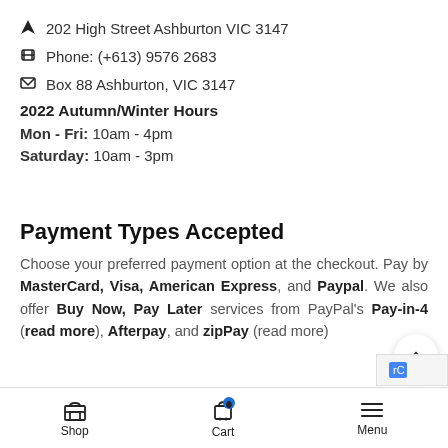202 High Street Ashburton VIC 3147
Phone: (+613) 9576 2683
Box 88 Ashburton, VIC 3147
2022 Autumn/Winter Hours
Mon - Fri: 10am - 4pm
Saturday: 10am - 3pm
Payment Types Accepted
Choose your preferred payment option at the checkout. Pay by MasterCard, Visa, American Express, and Paypal. We also offer Buy Now, Pay Later services from PayPal's Pay-in-4 (read more), Afterpay, and zipPay (read more)
Shop  Cart  Menu